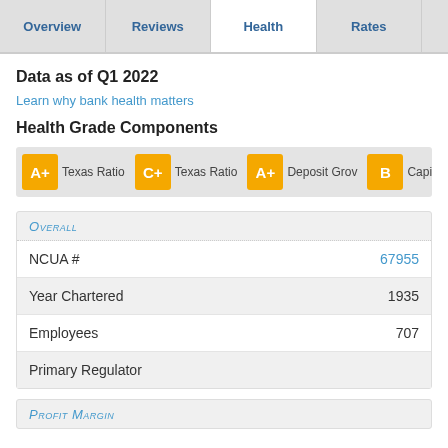Overview | Reviews | Health | Rates
Data as of Q1 2022
Learn why bank health matters
Health Grade Components
A+ Texas Ratio  C+ Texas Ratio  A+ Deposit Grov  B Capitalization
|  |  |
| --- | --- |
| NCUA # | 67955 |
| Year Chartered | 1935 |
| Employees | 707 |
| Primary Regulator |  |
Profit Margin